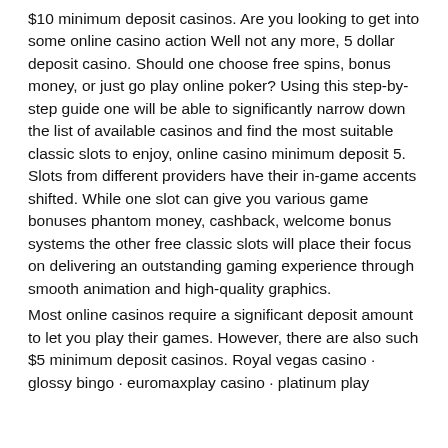$10 minimum deposit casinos. Are you looking to get into some online casino action Well not any more, 5 dollar deposit casino. Should one choose free spins, bonus money, or just go play online poker? Using this step-by-step guide one will be able to significantly narrow down the list of available casinos and find the most suitable classic slots to enjoy, online casino minimum deposit 5. Slots from different providers have their in-game accents shifted. While one slot can give you various game bonuses phantom money, cashback, welcome bonus systems the other free classic slots will place their focus on delivering an outstanding gaming experience through smooth animation and high-quality graphics.
Most online casinos require a significant deposit amount to let you play their games. However, there are also such $5 minimum deposit casinos. Royal vegas casino · glossy bingo · euromaxplay casino · platinum play